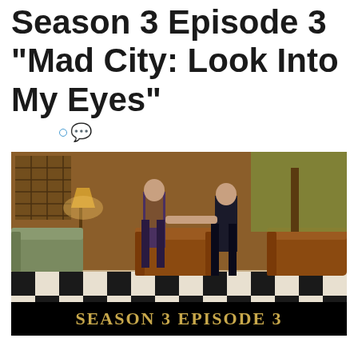Season 3 Episode 3 "Mad City: Look Into My Eyes"
[Figure (photo): Two men appear to be fighting in an ornate room with a black and white checkered floor, leather armchairs, a sofa, and a lamp. A banner at the bottom reads SEASON 3 EPISODE 3 in gold letters on a black background.]